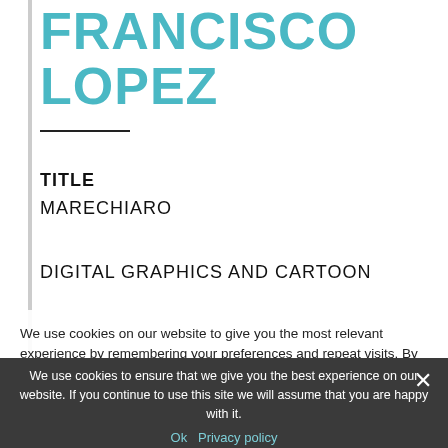FRANCISCO LOPEZ
TITLE
MARECHIARO
DIGITAL GRAPHICS AND CARTOON
We use cookies on our website to give you the most relevant experience by remembering your preferences and repeat visits. By clicking “Accept All”, you consent to the use of ALL the cookies. However,
We use cookies to ensure that we give you the best experience on our website. If you continue to use this site we will assume that you are happy with it.
Ok   Privacy policy